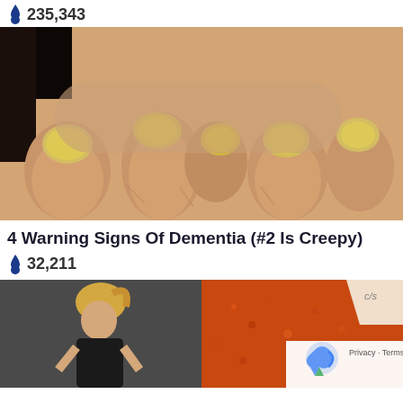235,343
[Figure (photo): Close-up photograph of hands showing yellowed fingernails, a potential warning sign of health conditions]
4 Warning Signs Of Dementia (#2 Is Creepy)
32,211
[Figure (photo): Split image showing a blonde woman exercising on the left and a pile of orange spice/seasoning on the right, with a reCAPTCHA Privacy - Terms overlay in the bottom right corner]